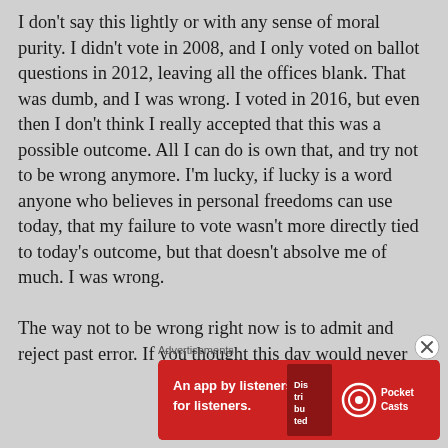I don't say this lightly or with any sense of moral purity. I didn't vote in 2008, and I only voted on ballot questions in 2012, leaving all the offices blank. That was dumb, and I was wrong. I voted in 2016, but even then I don't think I really accepted that this was a possible outcome. All I can do is own that, and try not to be wrong anymore. I'm lucky, if lucky is a word anyone who believes in personal freedoms can use today, that my failure to vote wasn't more directly tied to today's outcome, but that doesn't absolve me of much. I was wrong.

The way not to be wrong right now is to admit and reject past error. If you thought this day would never
Advertisements
[Figure (other): Red advertisement banner for Pocket Casts app reading 'An app by listeners, for listeners.' with phone image and Pocket Casts logo]